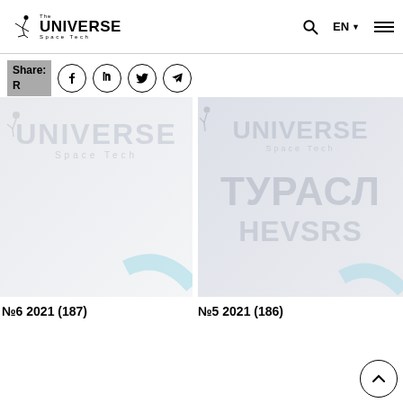The UNIVERSE Space Tech
Share: R
[Figure (screenshot): Left card: The Universe Space Tech magazine cover thumbnail, light gray background with watermark logo text UNIVERSE Space Tech]
[Figure (screenshot): Right card: The Universe Space Tech magazine cover thumbnail, light gray/blue background with watermark logo and stylized text]
№6 2021 (187)
№5 2021 (186)